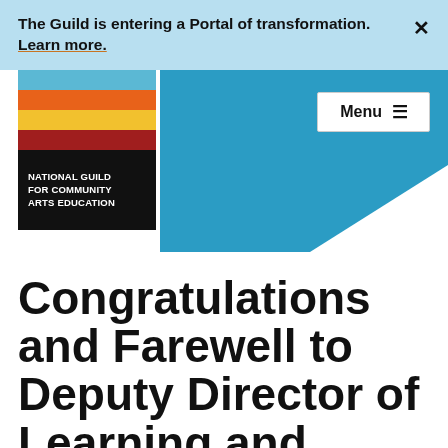The Guild is entering a Portal of transformation. Learn more.
[Figure (logo): National Guild for Community Arts Education logo with colored horizontal stripes (blue, orange, yellow, dark red) on black background]
Menu
Congratulations and Farewell to Deputy Director of Learning and Engagement